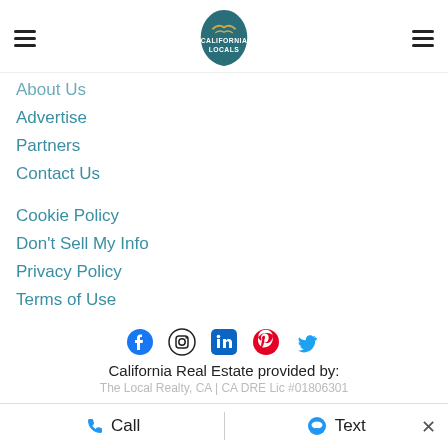California Locals logo with hamburger menus
About Us
Advertise
Partners
Contact Us
Cookie Policy
Don't Sell My Info
Privacy Policy
Terms of Use
[Figure (infographic): Social media icons row: Facebook, Instagram, LinkedIn, Pinterest, Twitter]
California Real Estate provided by:
The Local Realty, CA | CA DRE Lic #01806301
Call   Text